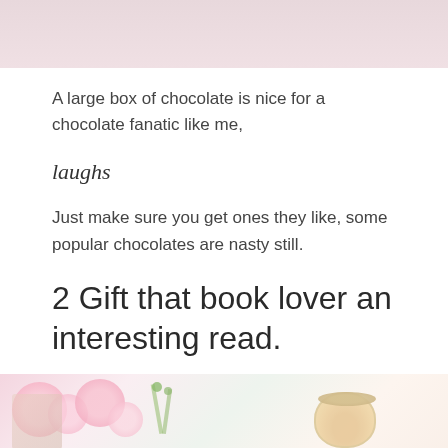[Figure (photo): Top portion of a photo showing chocolates on a light pink/white background]
A large box of chocolate is nice for a chocolate fanatic like me,
laughs
Just make sure you get ones they like, some popular chocolates are nasty still.
2 Gift that book lover an interesting read.
[Figure (photo): Bottom portion showing pink orchid flowers, green stems, and a cup of coffee/latte on a light background]